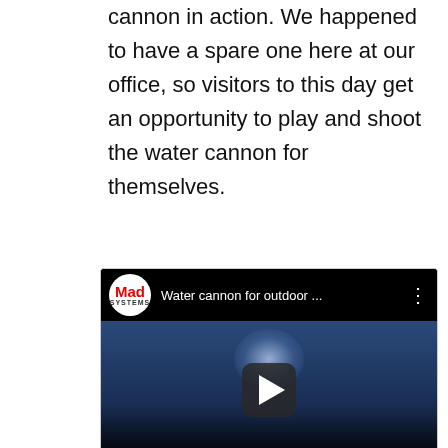Here's a movie showing the water cannon in action. We happened to have a spare one here at our office, so visitors to this day get an opportunity to play and shoot the water cannon for themselves.
[Figure (screenshot): Embedded YouTube video thumbnail showing 'Water cannon for outdoor ...' with Mad Systems logo, play button overlay, and dark sky with light beam thumbnail image.]